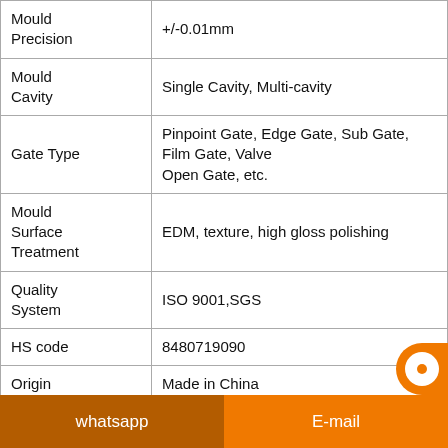| Property | Value |
| --- | --- |
| Mould Precision | +/-0.01mm |
| Mould Cavity | Single Cavity, Multi-cavity |
| Gate Type | Pinpoint Gate, Edge Gate, Sub Gate, Film Gate, Valve Gate, Open Gate, etc. |
| Mould Surface Treatment | EDM, texture, high gloss polishing |
| Quality System | ISO 9001,SGS |
| HS code | 8480719090 |
| Origin | Made in China |
| Installation | fixed |
whatsapp   E-mail